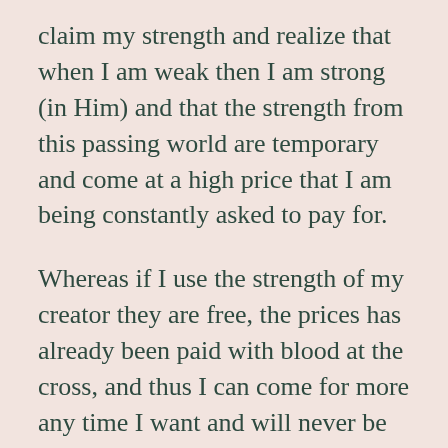claim my strength and realize that when I am weak then I am strong (in Him) and that the strength from this passing world are temporary and come at a high price that I am being constantly asked to pay for.
Whereas if I use the strength of my creator they are free, the prices has already been paid with blood at the cross, and thus I can come for more any time I want and will never be asked to pay for them.
That strength is the one I seek daily, not from this world. Oh, yeah, not from this world at all.